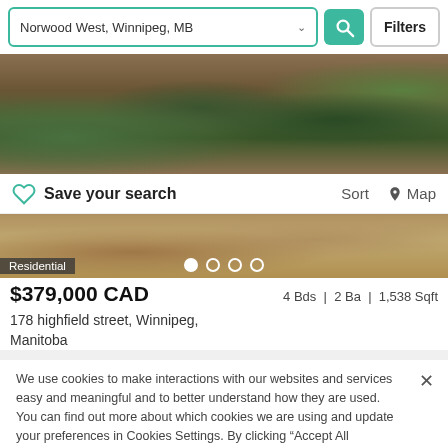Norwood West, Winnipeg, MB
[Figure (photo): Exterior photo of residential property with garden and mulch landscaping]
Save your search   Sort   Map
[Figure (photo): Residential property exterior photo showing landscaping with mulch]
Residential
$379,000 CAD   4 Bds | 2 Ba | 1,538 Sqft
178 highfield street, Winnipeg, Manitoba
We use cookies to make interactions with our websites and services easy and meaningful and to better understand how they are used. You can find out more about which cookies we are using and update your preferences in Cookies Settings. By clicking “Accept All Cookies,” you are agreeing to our use of cookies.  Cookie Notice
Cookies Settings
Accept All Cookies